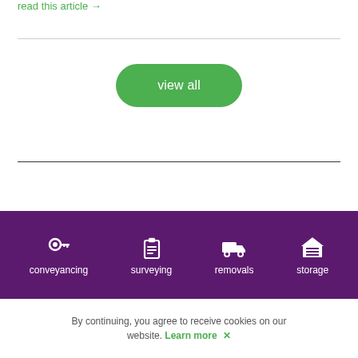read this article →
view all
Other Authors
[Figure (infographic): Purple footer bar with four white icons and labels: conveyancing (key icon), surveying (clipboard icon), removals (truck icon), storage (garage/warehouse icon)]
By continuing, you agree to receive cookies on our website. Learn more ✕